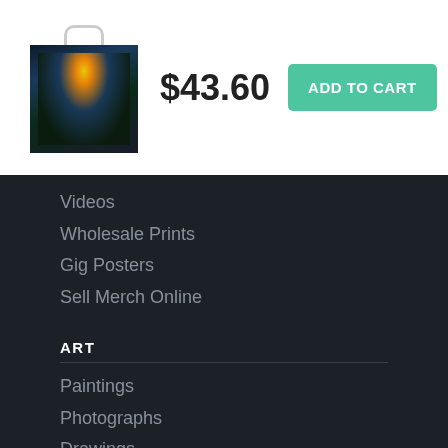[Figure (photo): Product thumbnail of a tote bag with a Christmas/city lights scene printed on it, shown with white handles]
$43.60
ADD TO CART
Videos
Wholesale Prints
Gig Posters
Sell Merch Online
ART
Paintings
Photographs
Drawings
Digital Art
Mixed Media
Originals
SHOP